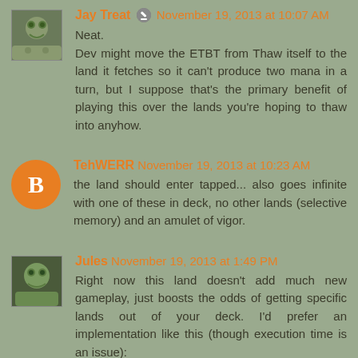Jay Treat · November 19, 2013 at 10:07 AM
Neat.
Dev might move the ETBT from Thaw itself to the land it fetches so it can't produce two mana in a turn, but I suppose that's the primary benefit of playing this over the lands you're hoping to thaw into anyhow.
TehWERR November 19, 2013 at 10:23 AM
the land should enter tapped... also goes infinite with one of these in deck, no other lands (selective memory) and an amulet of vigor.
Jules November 19, 2013 at 1:49 PM
Right now this land doesn't add much new gameplay, just boosts the odds of getting specific lands out of your deck. I'd prefer an implementation like this (though execution time is an issue):